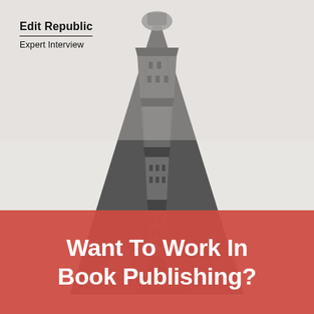Edit Republic
Expert Interview
[Figure (photo): Black and white upward-angle photograph of the Flatiron Building in New York City, showing the iconic triangular wedge shape narrowing toward the top with ornate architectural detailing.]
Want To Work In Book Publishing?